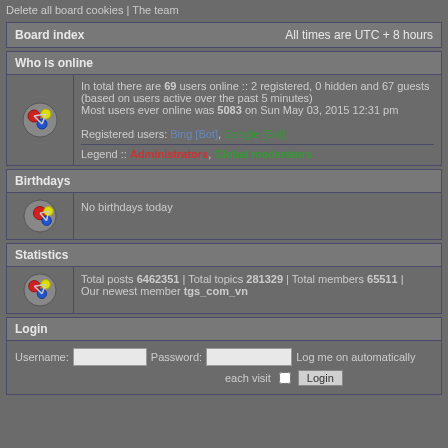Delete all board cookies | The team
Board index                    All times are UTC + 8 hours
Who is online
In total there are 69 users online :: 2 registered, 0 hidden and 67 guests (based on users active over the past 5 minutes)
Most users ever online was 5083 on Sun May 03, 2015 12:31 pm
Registered users: Bing [Bot], Google [Bot]
Legend :: Administrators, Global moderators
Birthdays
No birthdays today
Statistics
Total posts 6462351 | Total topics 281329 | Total members 65511 | Our newest member tgs_com_vn
Login
Username:  Password:  Log me on automatically each visit  Login